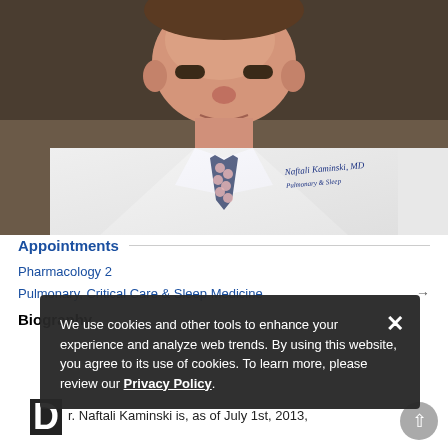[Figure (photo): Professional headshot of Dr. Naftali Kaminski, MD, in white lab coat with pink patterned tie. Name badge visible on coat.]
Appointments
Pharmacology 2
Pulmonary, Critical Care Sleep Medicine →
Biography
[Figure (screenshot): Cookie consent banner overlay: 'We use cookies and other tools to enhance your experience and analyze web trends. By using this website, you agree to its use of cookies. To learn more, please review our Privacy Policy.']
Dr. Naftali Kaminski is, as of July 1st, 2013,